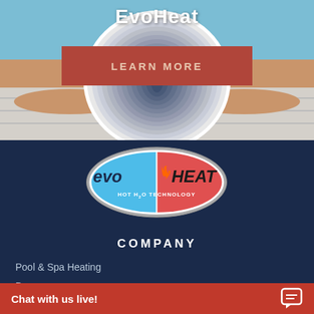EvoHeat
[Figure (illustration): Hero banner with person relaxing by a pool wearing a striped hat, with a red 'LEARN MORE' button overlay]
[Figure (logo): EvoHeat oval logo with blue and red halves showing 'evo' on left blue side and 'HEAT' on right red side with flame icon, tagline 'HOT H2O TECHNOLOGY']
COMPANY
Pool & Spa Heating
D...
Chat with us live!